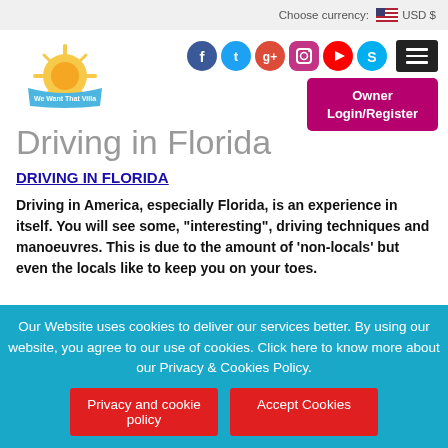Choose currency: USD $
[Figure (logo): We Want That Villa logo with sun and banner]
[Figure (infographic): Social media icons: Facebook, Twitter, Google+, Instagram, YouTube, Skype]
[Figure (other): Hamburger menu button]
Owner Login/Register
Driving in Florida
DRIVING IN FLORIDA
Driving in America, especially Florida, is an experience in itself. You will see some, "interesting", driving techniques and manoeuvres. This is due to the amount of 'non-locals' but even the locals like to keep you on your toes.
Our Website uses cookies to deliver our services better. By using our website, you agree to our use of cookies. Click here to know more about our Privacy & Cookies Policy.
Privacy and cookie policy
Accept Cookies